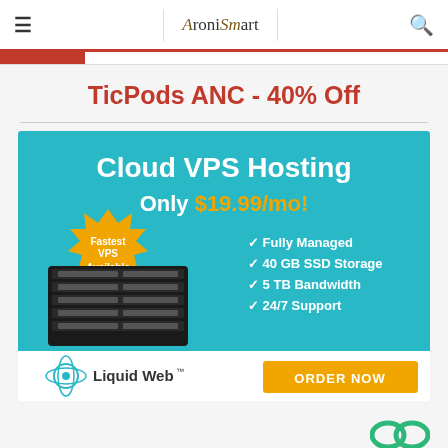≡  AroniSmart  🔍
TicPods ANC - 40% Off
[Figure (infographic): Cloud VPS Hosting advertisement banner for Liquid Web. Teal background. Large white text: 'Cloud VPS Hosting Only $19.99/mo!' with gold starburst badge 'Fastest VPS Available'. Server rack image on left. White checkmarks listing: Fully Managed, 40 GB SSD Storage, 5 TB Bandwidth, 24/7 Support. Bottom white bar with Liquid Web logo and orange ORDER NOW button.]
[Figure (logo): Partial green logo visible at bottom right corner of page.]